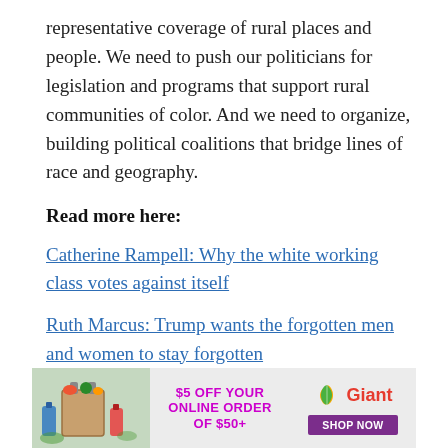representative coverage of rural places and people. We need to push our politicians for legislation and programs that support rural communities of color. And we need to organize, building political coalitions that bridge lines of race and geography.
Read more here:
Catherine Rampell: Why the white working class votes against itself
Ruth Marcus: Trump wants the forgotten men and women to stay forgotten
Eugene Robinson: Trump's America is not the only 'real' America
[Figure (other): Advertisement banner for Giant supermarket: $5 OFF YOUR ONLINE ORDER OF $50+ with SHOP NOW button and Giant logo with leaf icon]